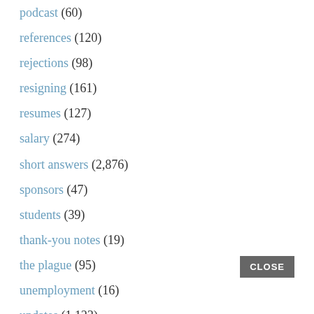podcast (60)
references (120)
rejections (98)
resigning (161)
resumes (127)
salary (274)
short answers (2,876)
sponsors (47)
students (39)
thank-you notes (19)
the plague (95)
unemployment (16)
updates (1,123)
volunteering (23)
wait, what?! (166)
work habits (535)
workplace practices (874)